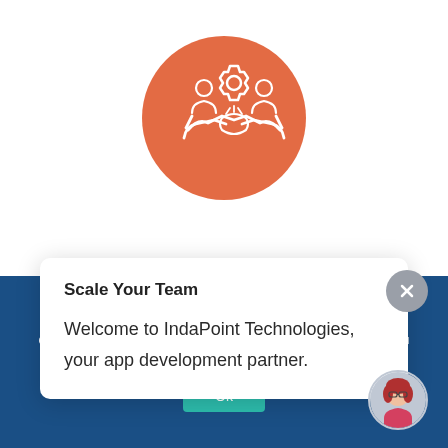[Figure (illustration): Orange circle with white icon showing handshake and people figures with gear]
Scale Your Team
Welcome to IndaPoint Technologies, your app development partner.
We use cookies to ensure that we give you the best experience on our website. If you continue to use this site we will assume that you are happy with it.
Ok